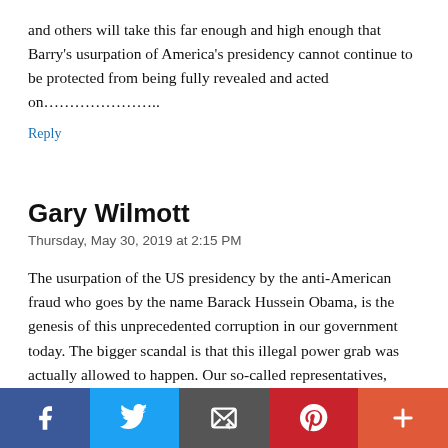and others will take this far enough and high enough that Barry's usurpation of America's presidency cannot continue to be protected from being fully revealed and acted on…………………..
Reply
Gary Wilmott
Thursday, May 30, 2019 at 2:15 PM
The usurpation of the US presidency by the anti-American fraud who goes by the name Barack Hussein Obama, is the genesis of this unprecedented corruption in our government today. The bigger scandal is that this illegal power grab was actually allowed to happen. Our so-called representatives, courts and media allowed, encouraged and covered for this greatest of crimes ever perpetrated on the American people. You can be sure that Bob Mueller is one of those despicable swamp creatures intent on covering the truth.
[Figure (infographic): Social sharing bar with Facebook, Twitter, Email, Pinterest, and More buttons]